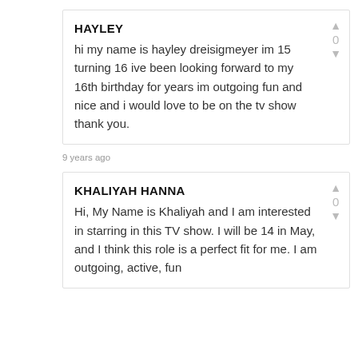HAYLEY
hi my name is hayley dreisigmeyer im 15 turning 16 ive been looking forward to my 16th birthday for years im outgoing fun and nice and i would love to be on the tv show thank you.
9 years ago
KHALIYAH HANNA
Hi, My Name is Khaliyah and I am interested in starring in this TV show. I will be 14 in May, and I think this role is a perfect fit for me. I am outgoing, active, fun